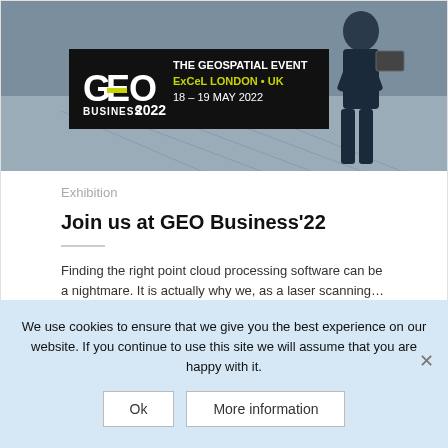[Figure (photo): GEO Business 2022 banner/logo overlay on an outdoor photo of a person holding a device. Banner reads: GEO BUSINESS 2022 – THE GEOSPATIAL EVENT, ExCeL LONDON • UK, 18–19 MAY 2022]
Exhibition
Join us at GEO Business'22
Finding the right point cloud processing software can be a nightmare. It is actually why we, as a laser scanning…
READ MORE
We use cookies to ensure that we give you the best experience on our website. If you continue to use this site we will assume that you are happy with it.